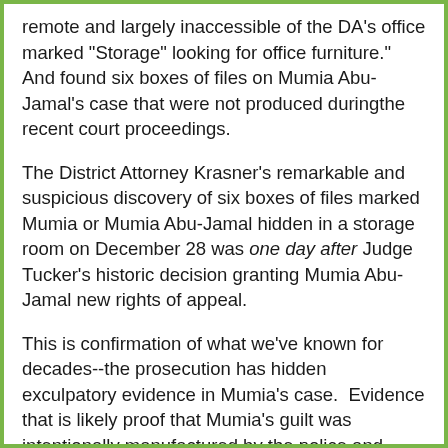remote and largely inaccessible of the DA's office marked "Storage" looking for office furniture." And found six boxes of files on Mumia Abu-Jamal's case that were not produced duringthe recent court proceedings.
The District Attorney Krasner's remarkable and suspicious discovery of six boxes of files marked Mumia or Mumia Abu-Jamal hidden in a storage room on December 28 was one day after Judge Tucker's historic decision granting Mumia Abu-Jamal new rights of appeal.
This is confirmation of what we've known for decades--the prosecution has hidden exculpatory evidence in Mumia's case.  Evidence that is likely proof that Mumia's guilt was intentionally manufactured by the police and prosecution and the truth of his innocence suppressed.
These files should be released to the public. DA Krasner should take this as evidence of the total corruptness of this